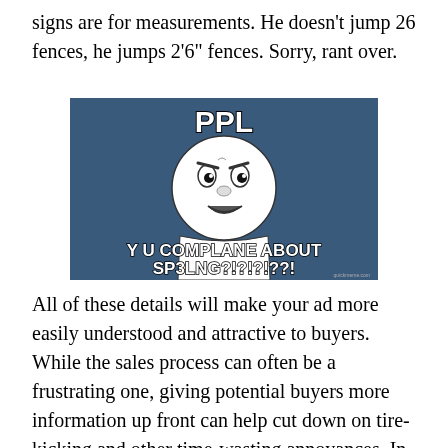signs are for measurements. He doesn't jump 26 fences, he jumps 2'6" fences. Sorry, rant over.
[Figure (illustration): Y U NO meme image with dark blue background, cartoon character face with exaggerated angry expression, white bold text reading 'PPL' at top and 'Y U COMPLANE ABOUT SP3LNG?!?!?!??!' at bottom]
All of these details will make your ad more easily understood and attractive to buyers. While the sales process can often be a frustrating one, giving potential buyers more information up front can help cut down on tire-kicking and other time-wasting annoyances. In